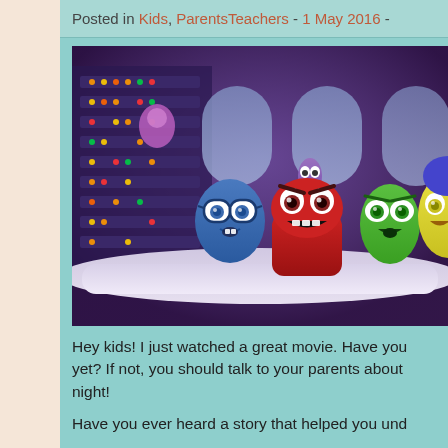Posted in Kids, ParentsTeachers - 1 May 2016 -
[Figure (photo): Screenshot from the Pixar movie Inside Out showing animated emotion characters (Sadness in blue, Anger in red, Disgust in green, Fear, and Joy) standing at a control console in Headquarters, looking alarmed.]
Hey kids! I just watched a great movie. Have you yet? If not, you should talk to your parents about night!
Have you ever heard a story that helped you und